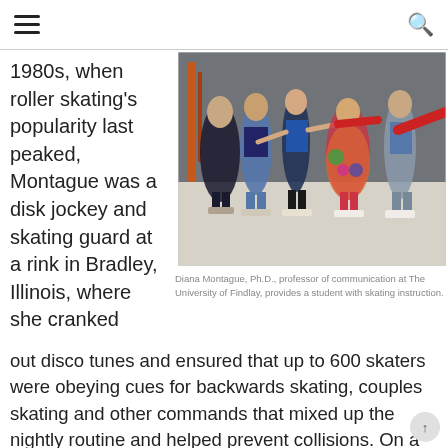[hamburger menu] [search icon]
1980s, when roller skating's popularity last peaked, Montague was a disk jockey and skating guard at a rink in Bradley, Illinois, where she cranked
[Figure (photo): People roller skating in a rink; Diana Montague providing skating instruction to students.]
Diana Montague, Ph.D., professor of communication at The University of Findlay, provides a student with skating instruction.
out disco tunes and ensured that up to 600 skaters were obeying cues for backwards skating, couples skating and other commands that mixed up the nightly routine and helped prevent collisions. On a recent practice night at UF, people were safely practicing how to not collide with the floor.